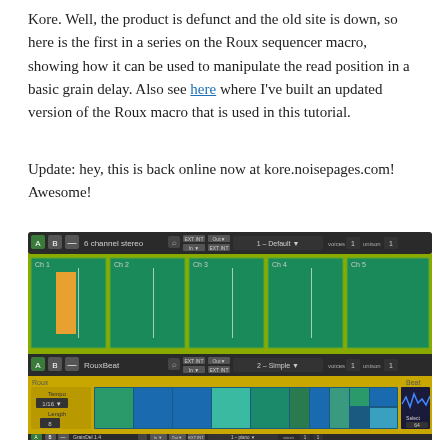Kore. Well, the product is defunct and the old site is down, so here is the first in a series on the Roux sequencer macro, showing how it can be used to manipulate the read position in a basic grain delay. Also see here where I've built an updated version of the Roux macro that is used in this tutorial.
Update: hey, this is back online now at kore.noisepages.com! Awesome!
[Figure (screenshot): A screenshot of the Kore software interface showing a 6 channel stereo plugin at the top with 5 channel panels (Ch 1 through Ch 5) each showing a green sequencer grid. Ch 1 has an orange/yellow bar. Below is a RounBeat plugin with the Roux sequencer macro showing Tempo 1/16 and Length 8 controls, with a colorful step sequencer grid. At the very bottom is a GrainDel 1.4 plugin strip.]